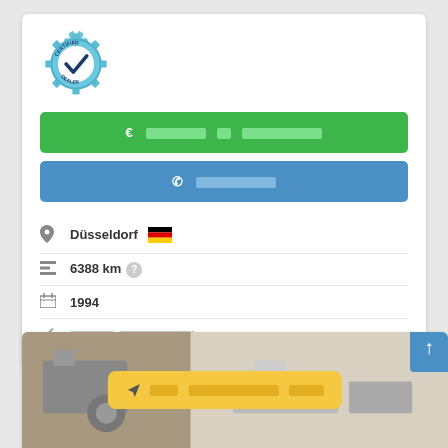[Figure (logo): Certified Dealer badge/seal with gear shape, teal/blue color, checkmark in center, text CERTIFIED DEALER]
€ ████ ██ ███████ (green button, price/offer)
✆ ███████ (blue button, contact/call)
Düsseldorf 🇩🇪
🚩 6388 km ?
📅 1994
🔧 █████ (█████████)
[Figure (photo): Machinery/industrial equipment photo at bottom of page, partially visible]
✈ ███ █████████ ████ (yellow tooltip overlay)